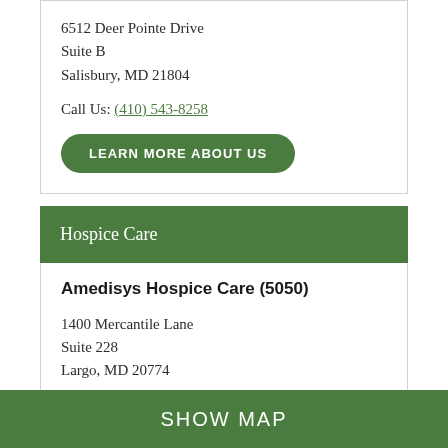6512 Deer Pointe Drive
Suite B
Salisbury, MD 21804
Call Us: (410) 543-8258
LEARN MORE ABOUT US
Hospice Care
Amedisys Hospice Care (5050)
1400 Mercantile Lane
Suite 228
Largo, MD 20774
Call Us: (301) 349-3568
SHOW MAP